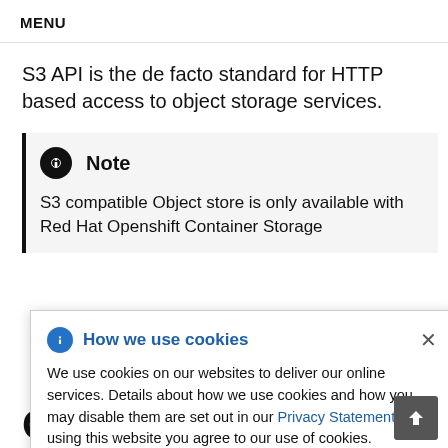MENU
S3 API is the de facto standard for HTTP based access to object storage services.
Note
S3 compatible Object store is only available with Red Hat Openshift Container Storage
How we use cookies
We use cookies on our websites to deliver our online services. Details about how we use cookies and how you may disable them are set out in our Privacy Statement. By using this website you agree to our use of cookies.
Openshift Container Storage